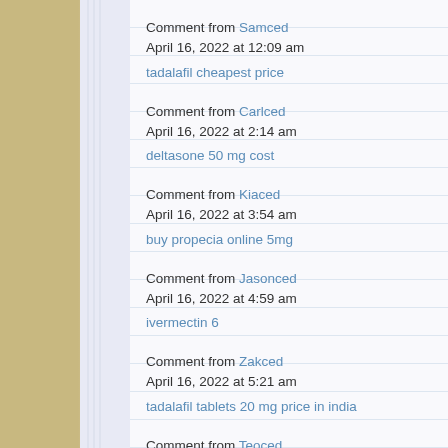Comment from Samced
April 16, 2022 at 12:09 am
tadalafil cheapest price
Comment from Carlced
April 16, 2022 at 2:14 am
deltasone 50 mg cost
Comment from Kiaced
April 16, 2022 at 3:54 am
buy propecia online 5mg
Comment from Jasonced
April 16, 2022 at 4:59 am
ivermectin 6
Comment from Zakced
April 16, 2022 at 5:21 am
tadalafil tablets 20 mg price in india
Comment from Teoced
April 16, 2022 at 6:43 am
viagra for sale online